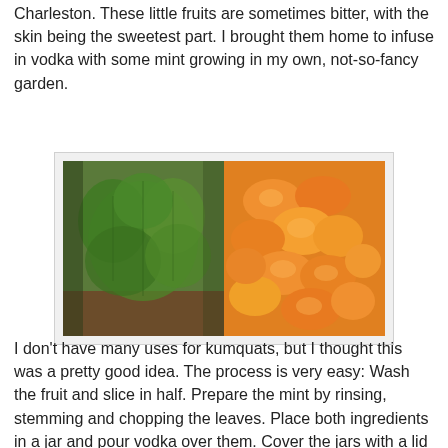Charleston. These little fruits are sometimes bitter, with the skin being the sweetest part. I brought them home to infuse in vodka with some mint growing in my own, not-so-fancy garden.
[Figure (photo): Side-by-side photo: left half shows green mint plant growing in soil; right half shows a pile of orange kumquat fruits.]
I don't have many uses for kumquats, but I thought this was a pretty good idea. The process is very easy: Wash the fruit and slice in half. Prepare the mint by rinsing, stemming and chopping the leaves. Place both ingredients in a jar and pour vodka over them. Cover the jars with a lid and place in a cool, dark place for 3 days. The vodka in this recipe could easily be replaced with gin.
[Figure (photo): Partial view of jars with kumquat and mint infusion in a garden/outdoor setting.]